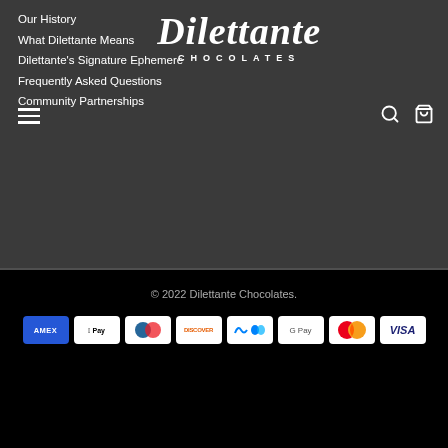Dilettante CHOCOLATES
Our History
What Dilettante Means
Dilettante's Signature Ephemere
Frequently Asked Questions
Community Partnerships
Renowned Chocolates
By using heirloom recipes, Dilettante creates unparalleled chocolates. In each bite, taste premium ingredients perfectly crafted to create the highest-quality chocolate possible.
© 2022 Dilettante Chocolates.
[Figure (other): Payment method icons: American Express, Apple Pay, Diners Club, Discover, Meta Pay, Google Pay, Mastercard, Visa]